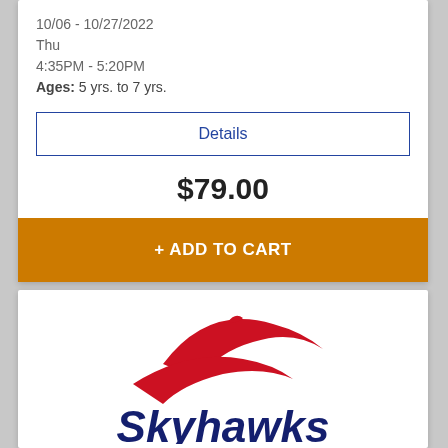10/06 - 10/27/2022
Thu
4:35PM - 5:20PM
Ages: 5 yrs. to 7 yrs.
Details
$79.00
+ ADD TO CART
[Figure (logo): Skyhawks sports logo with red swoosh bird shape above the word Skyhawks in bold navy blue text]